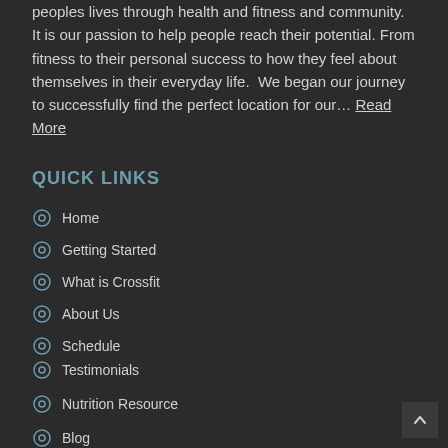peoples lives through health and fitness and community.  It is our passion to help people reach their potential. From fitness to their personal success to how they feel about themselves in their everyday life.  We began our journey to successfully find the perfect location for our… Read More
QUICK LINKS
Home
Getting Started
What is Crossfit
About Us
Schedule
Testimonials
Nutrition Resource
Blog